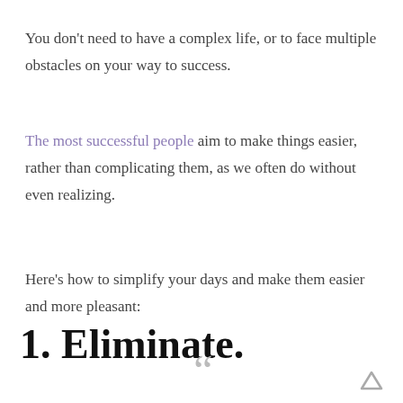You don’t need to have a complex life, or to face multiple obstacles on your way to success.
The most successful people aim to make things easier, rather than complicating them, as we often do without even realizing.
Here’s how to simplify your days and make them easier and more pleasant:
1. Eliminate.